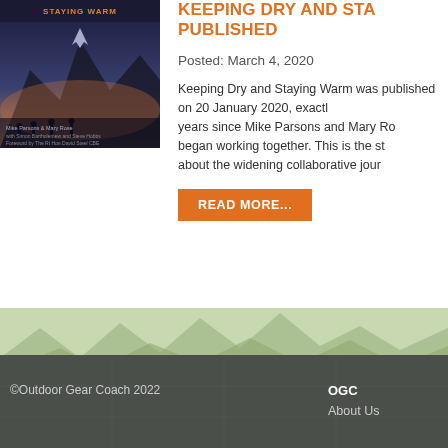[Figure (photo): Book cover for 'Keeping Dry and Staying Warm' showing hikers/climbers in mountain landscape with purple and orange tones]
KEEPING DRY AND STAYING WARM PUBLISHED
Posted: March 4, 2020
Keeping Dry and Staying Warm was published on 20 January 2020, exactly years since Mike Parsons and Mary Ro began working together. This is the st about the widening collaborative jour
READ MORE...
[Figure (illustration): Decorative wave/mountain landscape in green tones dividing content from footer]
©Outdoor Gear Coach 2022
OGC
About Us